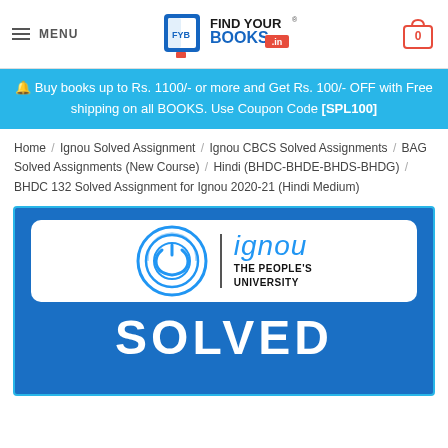MENU | FIND YOUR BOOKS .in | 0
🔔 Buy books up to Rs. 1100/- or more and Get Rs. 100/- OFF with Free shipping on all BOOKS. Use Coupon Code [SPL100]
Home / Ignou Solved Assignment / Ignou CBCS Solved Assignments / BAG Solved Assignments (New Course) / Hindi (BHDC-BHDE-BHDS-BHDG) / BHDC 132 Solved Assignment for Ignou 2020-21 (Hindi Medium)
[Figure (logo): IGNOU – The People's University logo with circular emblem and text, inside a product card with blue background and 'SOLVED' text at bottom]